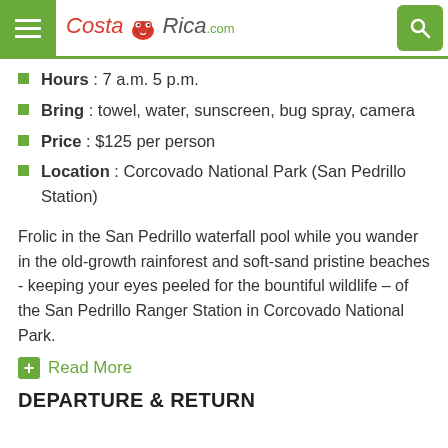CostaRica.com
Hours : 7 a.m. 5 p.m.
Bring : towel, water, sunscreen, bug spray, camera
Price : $125 per person
Location : Corcovado National Park (San Pedrillo Station)
Frolic in the San Pedrillo waterfall pool while you wander in the old-growth rainforest and soft-sand pristine beaches - keeping your eyes peeled for the bountiful wildlife – of the San Pedrillo Ranger Station in Corcovado National Park.
Read More
DEPARTURE & RETURN